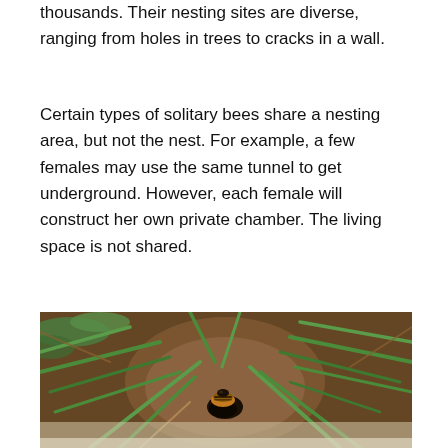thousands. Their nesting sites are diverse, ranging from holes in trees to cracks in a wall.
Certain types of solitary bees share a nesting area, but not the nest. For example, a few females may use the same tunnel to get underground. However, each female will construct her own private chamber. The living space is not shared.
[Figure (photo): A bee entering a ground nest hole surrounded by grass and soil, viewed from above. The bee appears to have orange-brown coloring on its abdomen. The surrounding ground shows dark brown soil with green grass blades radiating outward.]